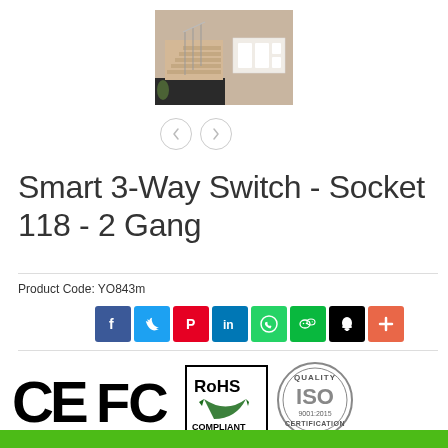[Figure (photo): Product photo showing a modern living room staircase with a smart wall switch panel installed on the wall.]
[Figure (other): Navigation arrows (left and right chevron circle buttons) for image carousel.]
Smart 3-Way Switch - Socket 118 - 2 Gang
Product Code: YO843m
[Figure (other): Social media sharing icons row: Facebook, Twitter, Pinterest, LinkedIn, WhatsApp, WeChat, QQ, and a plus button.]
[Figure (other): Certification logos: CE, FC, RoHS Compliant, ISO Quality Certification.]
[Figure (other): Green footer bar at the bottom of the page.]